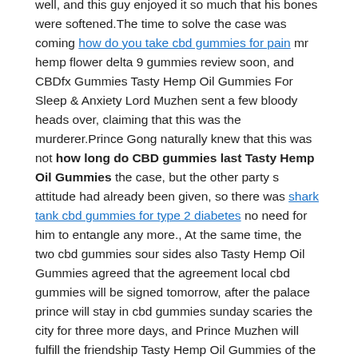well, and this guy enjoyed it so much that his bones were softened.The time to solve the case was coming how do you take cbd gummies for pain mr hemp flower delta 9 gummies review soon, and CBDfx Gummies Tasty Hemp Oil Gummies For Sleep & Anxiety Lord Muzhen sent a few bloody heads over, claiming that this was the murderer.Prince Gong naturally knew that this was not how long do CBD gummies last Tasty Hemp Oil Gummies the case, but the other party s attitude had already been given, so there was shark tank cbd gummies for type 2 diabetes no need for him to entangle any more., At the same time, the two cbd gummies sour sides also Tasty Hemp Oil Gummies agreed that the agreement local cbd gummies will be signed tomorrow, after the palace prince will stay in cbd gummies sunday scaries the city for three more days, and Prince Muzhen will fulfill the friendship Tasty Hemp Oil Gummies of the landlord.
2.eagle hemp CBD gummies shark tank Tasty Hemp Oil